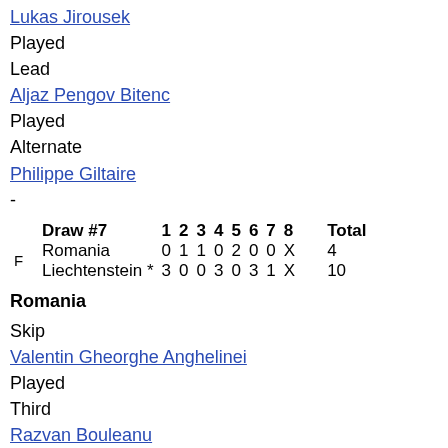Lukas Jirousek
Played
Lead
Aljaz Pengov Bitenc
Played
Alternate
Philippe Giltaire
-
|  | Draw #7 | 1 | 2 | 3 | 4 | 5 | 6 | 7 | 8 |  | Total |
| --- | --- | --- | --- | --- | --- | --- | --- | --- | --- | --- | --- |
| F | Romania | 0 | 1 | 1 | 0 | 2 | 0 | 0 | X |  | 4 |
|  | Liechtenstein * | 3 | 0 | 0 | 3 | 0 | 3 | 1 | X |  | 10 |
Romania
Skip
Valentin Gheorghe Anghelinei
Played
Third
Razvan Bouleanu
Played
Second
Cezar Postelnicu
Played